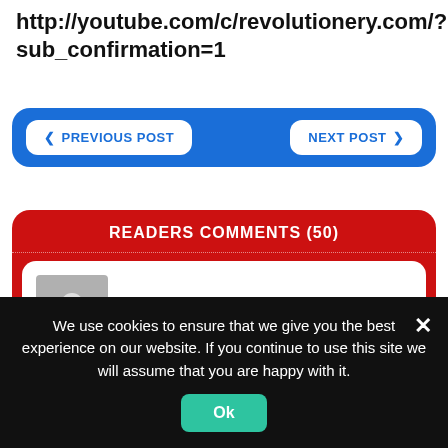http://youtube.com/c/revolutionery.com/?sub_confirmation=1
PREVIOUS POST
NEXT POST
READERS COMMENTS (50)
[Figure (photo): User avatar placeholder icon (grey silhouette)]
DAVID SZIKMAN
We use cookies to ensure that we give you the best experience on our website. If you continue to use this site we will assume that you are happy with it.
Ok